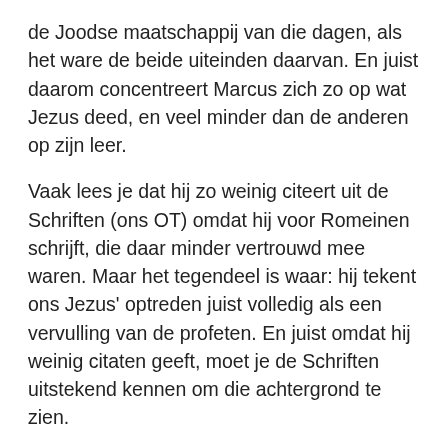de Joodse maatschappij van die dagen, als het ware de beide uiteinden daarvan. En juist daarom concentreert Marcus zich zo op wat Jezus deed, en veel minder dan de anderen op zijn leer.
Vaak lees je dat hij zo weinig citeert uit de Schriften (ons OT) omdat hij voor Romeinen schrijft, die daar minder vertrouwd mee waren. Maar het tegendeel is waar: hij tekent ons Jezus' optreden juist volledig als een vervulling van de profeten. En juist omdat hij weinig citaten geeft, moet je de Schriften uitstekend kennen om die achtergrond te zien.
Mensen als Petrus zullen in hun mondelinge prediking die informatie wellicht hebben aangevuld, waar dat nodig was. Maar Marcus' lezer wordt in feite geacht dat allemaal te weten en te herkennen. Petrus predikte aanvankelijk toch